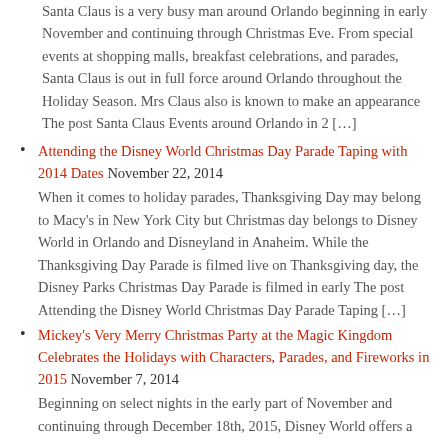Santa Claus is a very busy man around Orlando beginning in early November and continuing through Christmas Eve. From special events at shopping malls, breakfast celebrations, and parades, Santa Claus is out in full force around Orlando throughout the Holiday Season. Mrs Claus also is known to make an appearance The post Santa Claus Events around Orlando in 2 […]
Attending the Disney World Christmas Day Parade Taping with 2014 Dates November 22, 2014
When it comes to holiday parades, Thanksgiving Day may belong to Macy's in New York City but Christmas day belongs to Disney World in Orlando and Disneyland in Anaheim. While the Thanksgiving Day Parade is filmed live on Thanksgiving day, the Disney Parks Christmas Day Parade is filmed in early The post Attending the Disney World Christmas Day Parade Taping […]
Mickey's Very Merry Christmas Party at the Magic Kingdom Celebrates the Holidays with Characters, Parades, and Fireworks in 2015 November 7, 2014
Beginning on select nights in the early part of November and continuing through December 18th, 2015, Disney World offers a